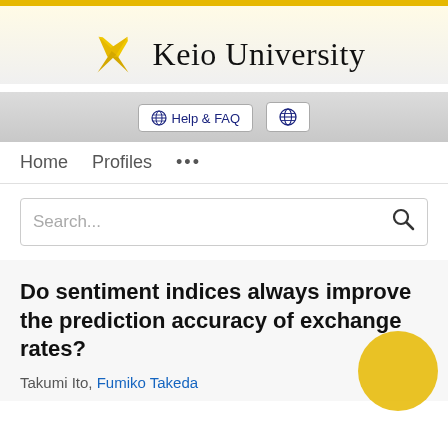[Figure (logo): Keio University logo with crossed pens icon and university name]
Help & FAQ
[Figure (logo): Globe/world icon button]
Home   Profiles   ...
Search...
Do sentiment indices always improve the prediction accuracy of exchange rates?
Takumi Ito, Fumiko Takeda